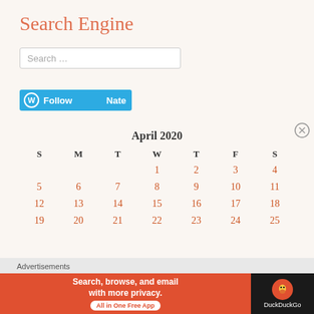Search Engine
Search ...
[Figure (other): WordPress Follow button with 'Follow' and 'Nate' text on blue background]
April 2020
| S | M | T | W | T | F | S |
| --- | --- | --- | --- | --- | --- | --- |
|  |  |  | 1 | 2 | 3 | 4 |
| 5 | 6 | 7 | 8 | 9 | 10 | 11 |
| 12 | 13 | 14 | 15 | 16 | 17 | 18 |
| 19 | 20 | 21 | 22 | 23 | 24 | 25 |
Advertisements
[Figure (infographic): DuckDuckGo advertisement banner: 'Search, browse, and email with more privacy. All in One Free App' with DuckDuckGo logo on dark background]